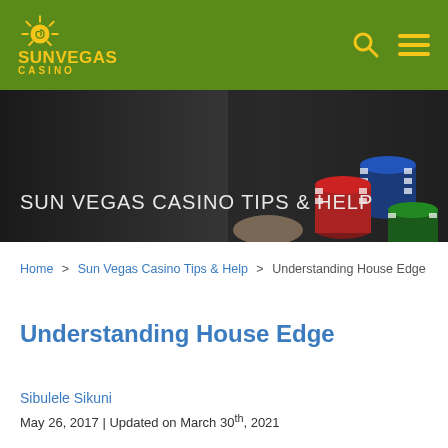SunVegas Casino
[Figure (photo): Casino chips stacked on a dark background, hero banner image for Sun Vegas Casino Tips & Help section]
SUN VEGAS CASINO TIPS & HELP
Home > Sun Vegas Casino Tips & Help > Understanding House Edge
Understanding House Edge
Sibulele Sikuni
May 26, 2017 | Updated on March 30th, 2021